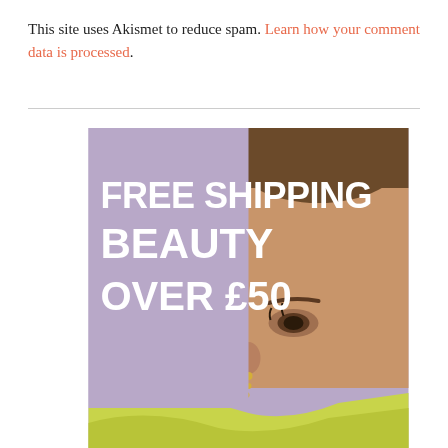This site uses Akismet to reduce spam. Learn how your comment data is processed.
[Figure (photo): Advertisement banner showing a close-up of a person's face against a lavender/purple background with yellow-green fabric. Bold white text overlay reads: FREE SHIPPING BEAUTY OVER £50]